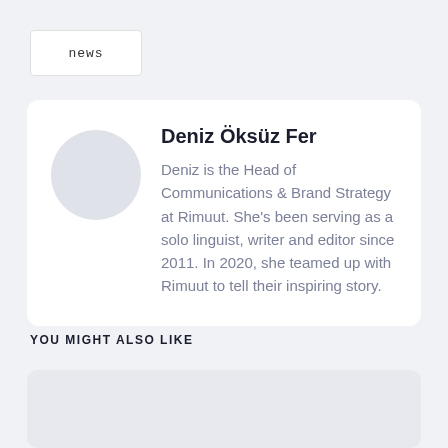news
Deniz Öksüz Fer
Deniz is the Head of Communications & Brand Strategy at Rimuut. She's been serving as a solo linguist, writer and editor since 2011. In 2020, she teamed up with Rimuut to tell their inspiring story.
YOU MIGHT ALSO LIKE